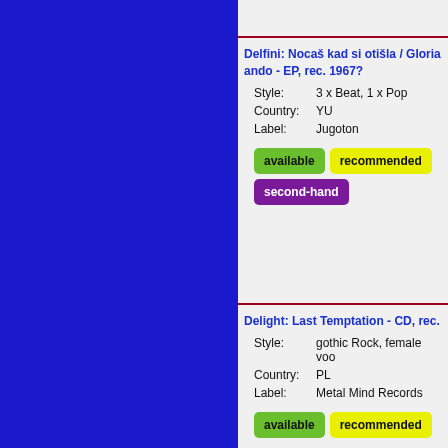Delfini: Nocaš kad si otišla / Gloria ando - EP, rec. 1967?
Style: 3 x Beat, 1 x Pop
Country: YU
Label: Jugoton
available | recommended | second-hand
Delight: Last Temptation - CD, rec.
Style: gothic Rock, female voo
Country: PL
Label: Metal Mind Records
available | recommended